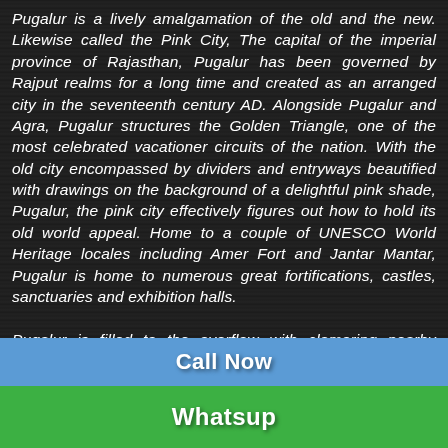Pugalur is a lively amalgamation of the old and the new. Likewise called the Pink City, The capital of the imperial province of Rajasthan, Pugalur has been governed by Rajput realms for a long time and created as an arranged city in the seventeenth century AD. Alongside Pugalur and Agra, Pugalur structures the Golden Triangle, one of the most celebrated vacationer circuits of the nation. With the old city encompassed by dividers and entryways beautified with drawings on the background of a delightful pink shade, Pugalur, the pink city effectively figures out how to hold its old world appeal. Home to a couple of UNESCO World Heritage locales including Amer Fort and Jantar Mantar, Pugalur is home to numerous great fortifications, castles, sanctuaries and exhibition halls.

Pugalur is filled to the overflow with clamoring nearby bazaars where you can search for neighborhood
Call Now
Whatsup